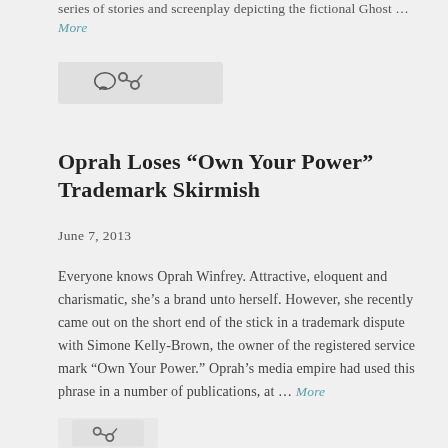series of stories and screenplay depicting the fictional Ghost … More
[Figure (other): Icon bar with comment bubble and share/link icons on a light gray background]
Oprah Loses “Own Your Power” Trademark Skirmish
June 7, 2013
Everyone knows Oprah Winfrey. Attractive, eloquent and charismatic, she’s a brand unto herself. However, she recently came out on the short end of the stick in a trademark dispute with Simone Kelly-Brown, the owner of the registered service mark “Own Your Power.” Oprah’s media empire had used this phrase in a number of publications, at … More
[Figure (other): Partial icon bar visible at bottom of page]